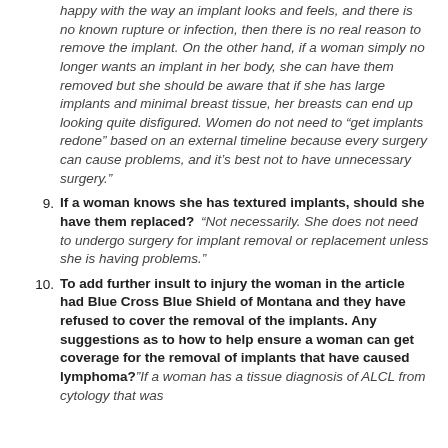(continuing) happy with the way an implant looks and feels, and there is no known rupture or infection, then there is no real reason to remove the implant. On the other hand, if a woman simply no longer wants an implant in her body, she can have them removed but she should be aware that if she has large implants and minimal breast tissue, her breasts can end up looking quite disfigured. Women do not need to “get implants redone” based on an external timeline because every surgery can cause problems, and it’s best not to have unnecessary surgery.”
9. If a woman knows she has textured implants, should she have them replaced? “Not necessarily. She does not need to undergo surgery for implant removal or replacement unless she is having problems.”
10. To add further insult to injury the woman in the article had Blue Cross Blue Shield of Montana and they have refused to cover the removal of the implants. Any suggestions as to how to help ensure a woman can get coverage for the removal of implants that have caused lymphoma?” If a woman has a tissue diagnosis of ALCL from cytology that was